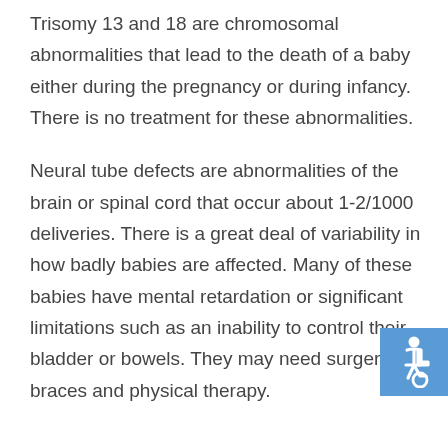Trisomy 13 and 18 are chromosomal abnormalities that lead to the death of a baby either during the pregnancy or during infancy. There is no treatment for these abnormalities.
Neural tube defects are abnormalities of the brain or spinal cord that occur about 1-2/1000 deliveries. There is a great deal of variability in how badly babies are affected. Many of these babies have mental retardation or significant limitations such as an inability to control their bladder or bowels. They may need surgery, leg braces and physical therapy.
[Figure (illustration): Accessibility icon (wheelchair symbol) in a blue square, positioned at the right side of the page]